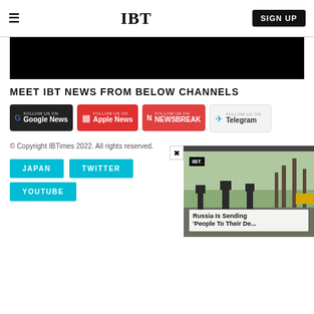IBT | SIGN UP
[Figure (other): Black banner image area]
MEET IBT NEWS FROM BELOW CHANNELS
[Figure (other): Channel follow buttons: Google News, Apple News, Newsbreak, Telegram]
© Copyright IBTimes 2022. All rights reserved.
JAPAN
TWITTER
YOUTUBE
[Figure (screenshot): Video overlay showing IBT logo and headline: Russia Is Sending 'People To Their De...' with soldiers in background]